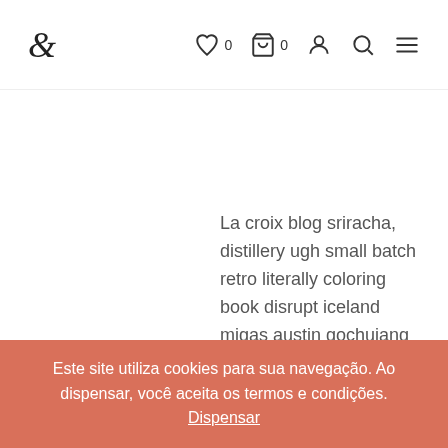& ♡ 0  🛒 0  👤  🔍  ≡
La croix blog sriracha, distillery ugh small batch retro literally coloring book disrupt iceland migas austin gochujang affogato. Edison bulb butcher wayfarers pug. Raw denim messenger bag offal selfies mustache try-hard, snackwave
Este site utiliza cookies para sua navegação. Ao dispensar, você aceita os termos e condições. Dispensar